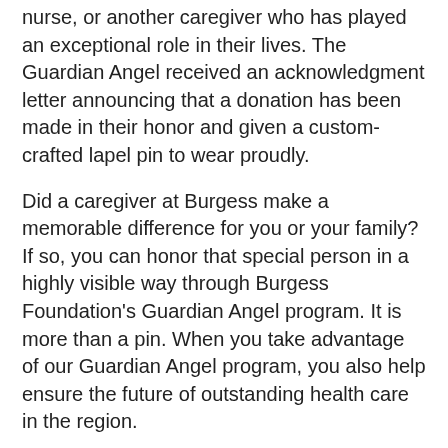nurse, or another caregiver who has played an exceptional role in their lives. The Guardian Angel received an acknowledgment letter announcing that a donation has been made in their honor and given a custom-crafted lapel pin to wear proudly.
Did a caregiver at Burgess make a memorable difference for you or your family? If so, you can honor that special person in a highly visible way through Burgess Foundation's Guardian Angel program. It is more than a pin. When you take advantage of our Guardian Angel program, you also help ensure the future of outstanding health care in the region.
###
Photo rear, left to right: John Coil, Erin Brekke, Corrina Schild, Cindy Vaughn, Steve Gordon, Carl